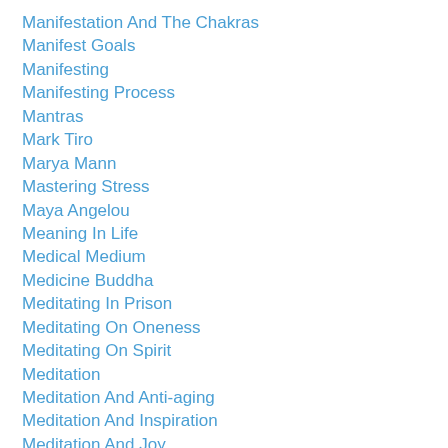Manifestation And The Chakras
Manifest Goals
Manifesting
Manifesting Process
Mantras
Mark Tiro
Marya Mann
Mastering Stress
Maya Angelou
Meaning In Life
Medical Medium
Medicine Buddha
Meditating In Prison
Meditating On Oneness
Meditating On Spirit
Meditation
Meditation And Anti-aging
Meditation And Inspiration
Meditation And Joy
Meditation And Memory